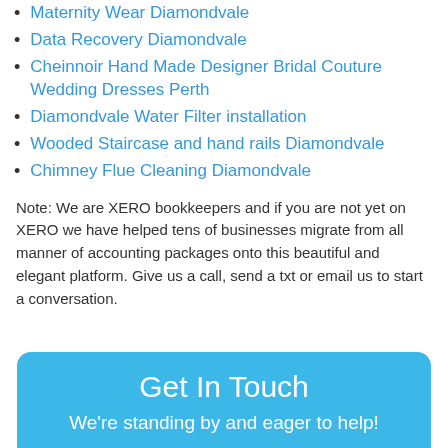Maternity Wear Diamondvale
Data Recovery Diamondvale
Cheinnoir Hand Made Designer Bridal Couture Wedding Dresses Perth
Diamondvale Water Filter installation
Wooded Staircase and hand rails Diamondvale
Chimney Flue Cleaning Diamondvale
Note: We are XERO bookkeepers and if you are not yet on XERO we have helped tens of businesses migrate from all manner of accounting packages onto this beautiful and elegant platform. Give us a call, send a txt or email us to start a conversation.
Get In Touch
We're standing by and eager to help!